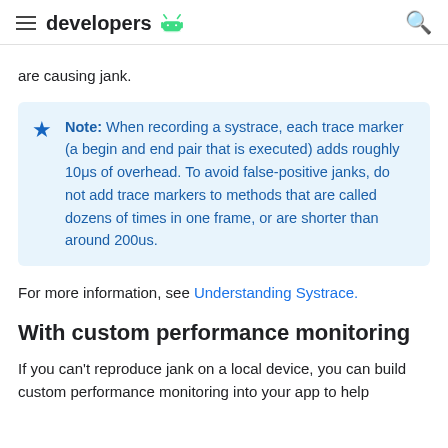developers
are causing jank.
Note: When recording a systrace, each trace marker (a begin and end pair that is executed) adds roughly 10μs of overhead. To avoid false-positive janks, do not add trace markers to methods that are called dozens of times in one frame, or are shorter than around 200us.
For more information, see Understanding Systrace.
With custom performance monitoring
If you can't reproduce jank on a local device, you can build custom performance monitoring into your app to help